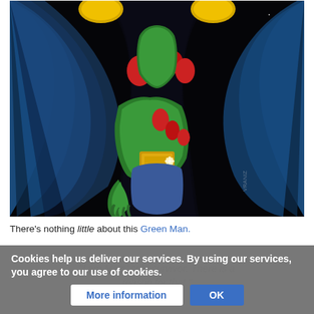[Figure (illustration): Comic book illustration of a large green-skinned superhero figure (Green Man/Martian Manhunter style character) with blue cape/cloak with black lining, wearing a gold/yellow belt buckle, with red collar decorations and yellow shoulder pads, set against a dark starfield background.]
There's nothing little about this Green Man.
Cookies help us deliver our services. By using our services, you agree to our use of cookies.
"I am Mars' sole survivor. There is a reason for that."
More information
OK